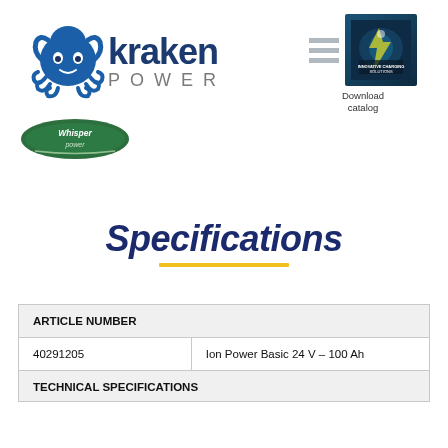[Figure (logo): Kraken Power logo with octopus icon and text 'kraken POWER']
[Figure (photo): Download catalog button with Kraken Power catalog cover image showing blue ocean/lightning theme, labeled 'Download catalog']
[Figure (logo): Whisper Power logo - dark green oval badge with brand name]
Specifications
| ARTICLE NUMBER |  |
| --- | --- |
| 40291205 | Ion Power Basic 24 V – 100 Ah |
| TECHNICAL SPECIFICATIONS |  |